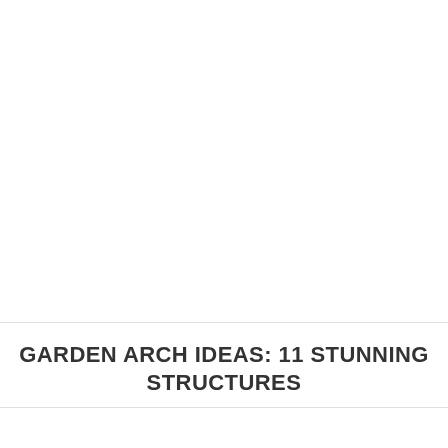GARDEN ARCH IDEAS: 11 STUNNING STRUCTURES